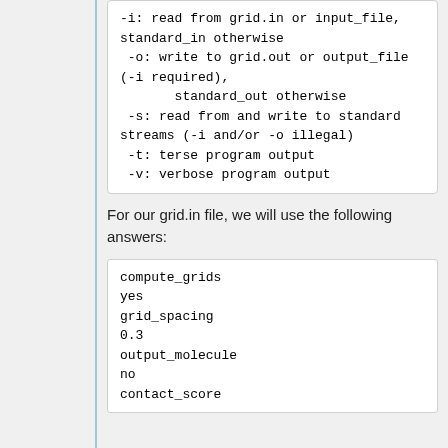-i: read from grid.in or input_file, standard_in otherwise
 -o: write to grid.out or output_file (-i required),
        standard_out otherwise
 -s: read from and write to standard streams (-i and/or -o illegal)
 -t: terse program output
 -v: verbose program output
For our grid.in file, we will use the following answers:
compute_grids
yes
grid_spacing
0.3
output_molecule
no
contact_score